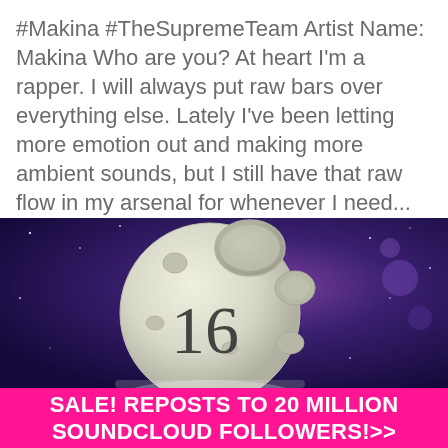#Makina #TheSupremeTeam Artist Name: Makina Who are you? At heart I'm a rapper. I will always put raw bars over everything else. Lately I've been letting more emotion out and making more ambient sounds, but I still have that raw flow in my arsenal for whenever I need...
[Figure (illustration): A stylized moon with craters and the number '16' printed on its surface, set against a purple/blue galaxy background with stars.]
SALE! REPOSTS TO 20 MILLION SOUNDCLOUD FOLLOWERS!>>